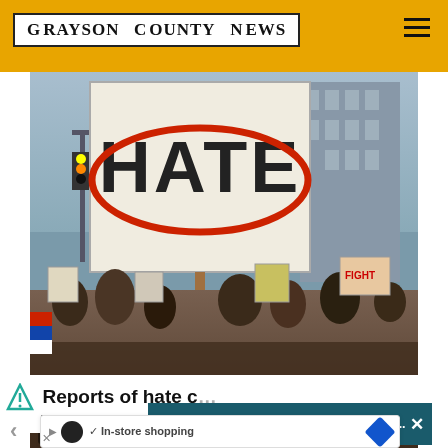Grayson County News
[Figure (photo): Protest scene with a large sign reading HATE with a red oval crossed out around it, crowd of protesters holding various signs in an urban setting]
Top Videos: - Dua Lipa Wore the Bikini V... ×
Reports of hate c[rimes split experts on] how protections w[ork]
✓ In-store shopping